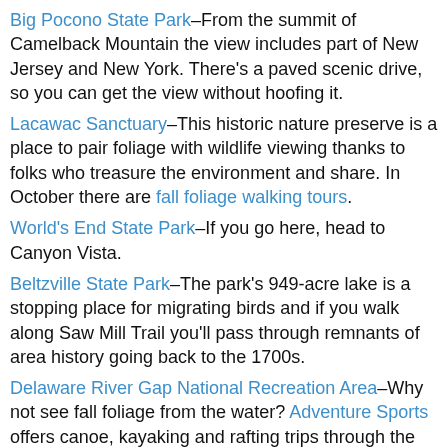Big Pocono State Park–From the summit of Camelback Mountain the view includes part of New Jersey and New York. There's a paved scenic drive, so you can get the view without hoofing it.
Lacawac Sanctuary–This historic nature preserve is a place to pair foliage with wildlife viewing thanks to folks who treasure the environment and share. In October there are fall foliage walking tours.
World's End State Park–If you go here, head to Canyon Vista.
Beltzville State Park–The park's 949-acre lake is a stopping place for migrating birds and if you walk along Saw Mill Trail you'll pass through remnants of area history going back to the 1700s.
Delaware River Gap National Recreation Area–Why not see fall foliage from the water? Adventure Sports offers canoe, kayaking and rafting trips through the end of October.
To help plan a scenic drive, here's an excellent resource I found. This page on TripCart outlines specific driving routes